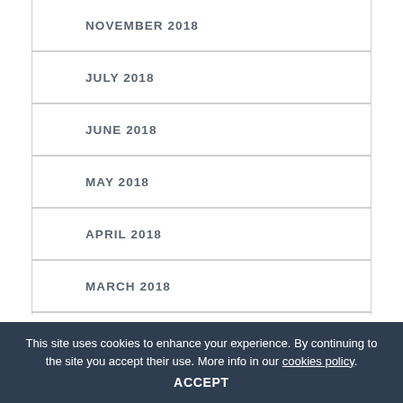NOVEMBER 2018
JULY 2018
JUNE 2018
MAY 2018
APRIL 2018
MARCH 2018
FEBRUARY 2018
This site uses cookies to enhance your experience. By continuing to the site you accept their use. More info in our cookies policy. ACCEPT